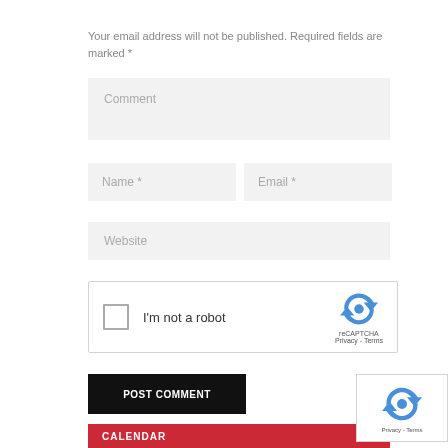Your email address will not be published. Required fields are marked *
[Figure (screenshot): Comment text input field (placeholder: Comment)]
[Figure (screenshot): Name input field (placeholder: Name *) and Email input field (placeholder: Email *)]
[Figure (screenshot): Website input field (placeholder: Website)]
[Figure (screenshot): reCAPTCHA widget with checkbox, 'I'm not a robot' label, and reCAPTCHA logo with Privacy and Terms links]
[Figure (screenshot): POST COMMENT button (black background, white text)]
[Figure (screenshot): CALENDAR bar (red background, white text)]
[Figure (screenshot): reCAPTCHA overlay in bottom-right corner with logo and Privacy - Terms text]